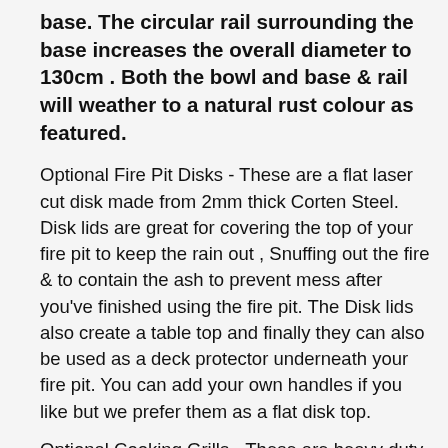base. The circular rail surrounding the base increases the overall diameter to 130cm . Both the bowl and base & rail will weather to a natural rust colour as featured.
Optional Fire Pit Disks - These are a flat laser cut disk made from 2mm thick Corten Steel. Disk lids are great for covering the top of your fire pit to keep the rain out , Snuffing out the fire & to contain the ash to prevent mess after you've finished using the fire pit. The Disk lids also create a table top and finally they can also be used as a deck protector underneath your fire pit. You can add your own handles if you like but we prefer them as a flat disk top.
Optional Cooking Grills - These are heavy duty 4mm round bar stainless steel cooking grills with insulated handles. A great addition to your fire pit!
Looking for Fire Pits in Melbourne, Sydney, Peth,